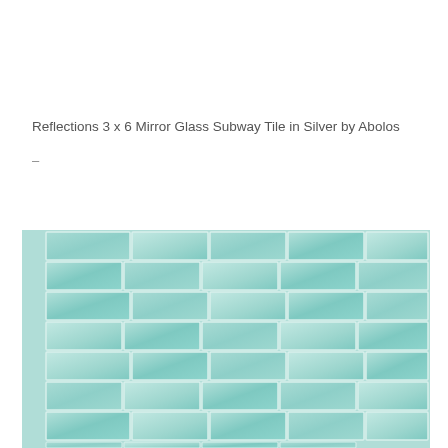Reflections 3 x 6 Mirror Glass Subway Tile in Silver by Abolos
–
[Figure (photo): Photo of teal/mint colored glass subway tiles arranged in a brick pattern, showing multiple rows of rectangular glass tiles with slight color variation and reflective surface.]